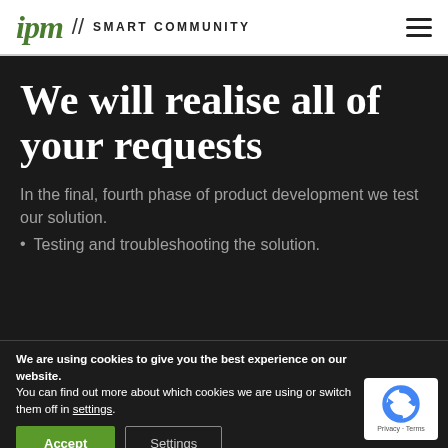ipm // SMART COMMUNITY
We will realise all of your requests
In the final, fourth phase of product development we test our solution.
Testing and troubleshooting the solution.
We are using cookies to give you the best experience on our website.
You can find out more about which cookies we are using or switch them off in settings.